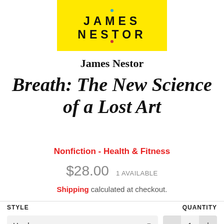[Figure (illustration): Yellow book cover showing author name JAMES NESTOR in large bold black letters on bright yellow background with small colored dots]
James Nestor
Breath: The New Science of a Lost Art
Nonfiction - Health & Fitness
$28.00  1 AVAILABLE
Shipping calculated at checkout.
STYLE
QUANTITY
Hardcover
1